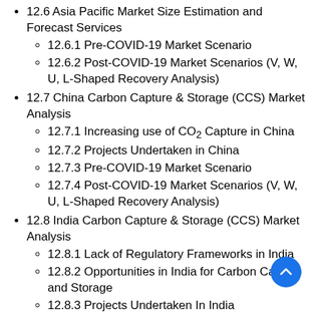12.6 Asia Pacific Market Size Estimation and Forecast Services
12.6.1 Pre-COVID-19 Market Scenario
12.6.2 Post-COVID-19 Market Scenarios (V, W, U, L-Shaped Recovery Analysis)
12.7 China Carbon Capture & Storage (CCS) Market Analysis
12.7.1 Increasing use of CO2 Capture in China
12.7.2 Projects Undertaken in China
12.7.3 Pre-COVID-19 Market Scenario
12.7.4 Post-COVID-19 Market Scenarios (V, W, U, L-Shaped Recovery Analysis)
12.8 India Carbon Capture & Storage (CCS) Market Analysis
12.8.1 Lack of Regulatory Frameworks in India
12.8.2 Opportunities in India for Carbon Capture and Storage
12.8.3 Projects Undertaken In India
12.8.4 Pre-COVID-19 Market Scenario
12.8.5 Post-COVID-19 Market Scenarios (V, W, U, L-Shaped Recovery Analysis)
12.9 Japan Carbon Capture & Storage (CCS) Market Analysis